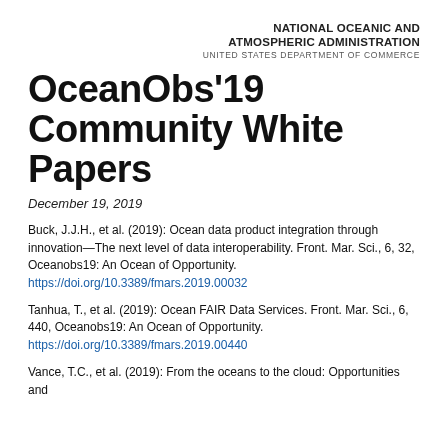NATIONAL OCEANIC AND ATMOSPHERIC ADMINISTRATION
UNITED STATES DEPARTMENT OF COMMERCE
OceanObs'19 Community White Papers
December 19, 2019
Buck, J.J.H., et al. (2019): Ocean data product integration through innovation—The next level of data interoperability. Front. Mar. Sci., 6, 32, Oceanobs19: An Ocean of Opportunity. https://doi.org/10.3389/fmars.2019.00032
Tanhua, T., et al. (2019): Ocean FAIR Data Services. Front. Mar. Sci., 6, 440, Oceanobs19: An Ocean of Opportunity. https://doi.org/10.3389/fmars.2019.00440
Vance, T.C., et al. (2019): From the oceans to the cloud: Opportunities and